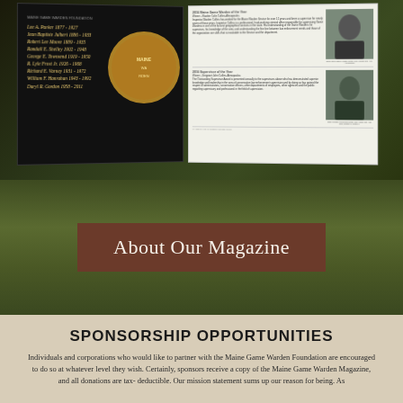[Figure (photo): Photo of open Maine Game Warden Foundation magazine spread showing names list on dark left page and articles with officer photos on right page, displayed on a dark green mossy background]
About Our Magazine
SPONSORSHIP OPPORTUNITIES
Individuals and corporations who would like to partner with the Maine Game Warden Foundation are encouraged to do so at whatever level they wish. Certainly, sponsors receive a copy of the Maine Game Warden Magazine, and all donations are tax-deductible. Our mission statement sums up our reason for being. As